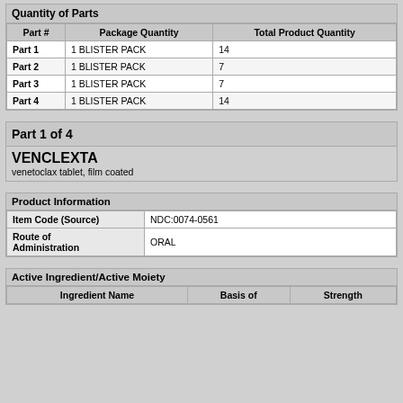Quantity of Parts
| Part # | Package Quantity | Total Product Quantity |
| --- | --- | --- |
| Part 1 | 1 BLISTER PACK | 14 |
| Part 2 | 1 BLISTER PACK | 7 |
| Part 3 | 1 BLISTER PACK | 7 |
| Part 4 | 1 BLISTER PACK | 14 |
Part 1 of 4
VENCLEXTA
venetoclax tablet, film coated
Product Information
| Item Code (Source) | NDC:0074-0561 |
| --- | --- |
| Route of Administration | ORAL |
Active Ingredient/Active Moiety
| Ingredient Name | Basis of | Strength |
| --- | --- | --- |